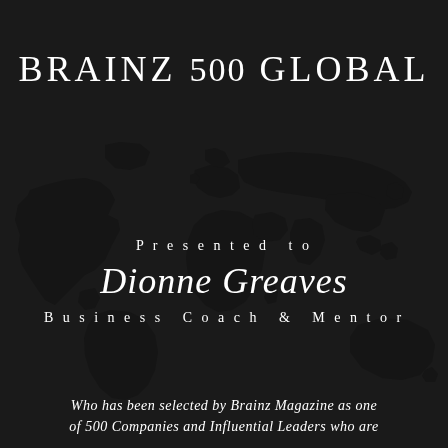BRAINZ 500 GLOBAL
[Figure (map): Dark silhouette world map illustration in black on dark background]
Presented to
Dionne Greaves
Business Coach & Mentor
Who has been selected by Brainz Magazine as one of 500 Companies and Influential Leaders who are